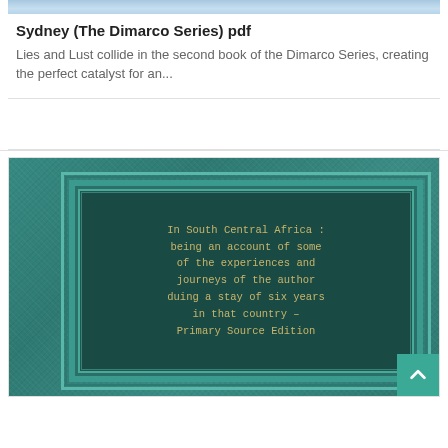[Figure (photo): Top strip of a book cover image, sky and water visible]
Sydney (The Dimarco Series) pdf
Lies and Lust collide in the second book of the Dimarco Series, creating the perfect catalyst for an...
[Figure (photo): Book cover: teal/green textured hardcover with decorative Celtic-style border frame and gold text reading: In South Central Africa : being an account of some of the experiences and journeys of the author duing a stay of six years in that country – Primary Source Edition]